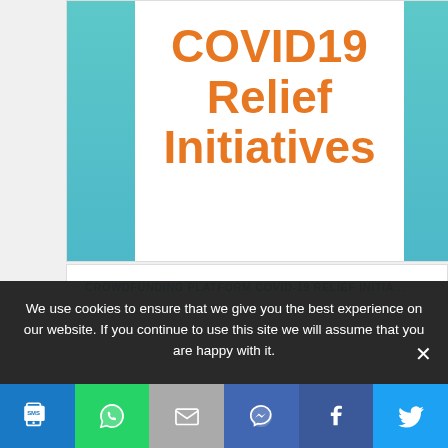[Figure (illustration): COVID19 Relief Initiatives banner with teal side panels and white center, showing large orange bold text 'COVID19 Relief Initiatives']
CROWDFUNDING PLATFORM COVID-19 RELIEF INITIA...
We use cookies to ensure that we give you the best experience on our website. If you continue to use this site we will assume that you are happy with it.
[Figure (infographic): Social sharing bar with six icons: SMS (blue), WhatsApp (green), Email (grey), Messenger (dark blue), Facebook (dark blue), Twitter (light blue)]